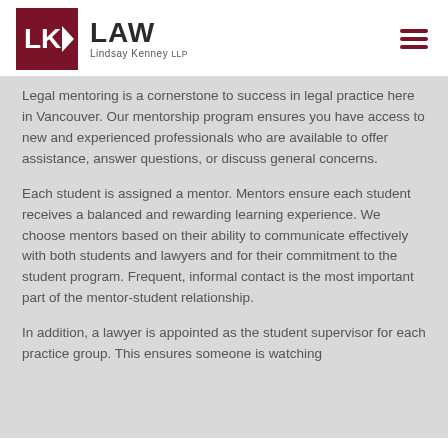LK LAW Lindsay Kenney LLP
Legal mentoring is a cornerstone to success in legal practice here in Vancouver. Our mentorship program ensures you have access to new and experienced professionals who are available to offer assistance, answer questions, or discuss general concerns.
Each student is assigned a mentor. Mentors ensure each student receives a balanced and rewarding learning experience. We choose mentors based on their ability to communicate effectively with both students and lawyers and for their commitment to the student program. Frequent, informal contact is the most important part of the mentor-student relationship.
In addition, a lawyer is appointed as the student supervisor for each practice group. This ensures someone is watching over the students they really matter and help is close at hand.